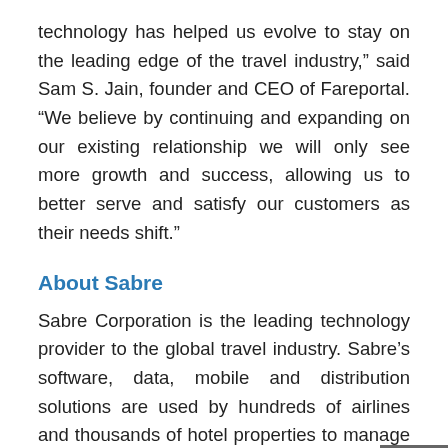technology has helped us evolve to stay on the leading edge of the travel industry,” said Sam S. Jain, founder and CEO of Fareportal. “We believe by continuing and expanding on our existing relationship we will only see more growth and success, allowing us to better serve and satisfy our customers as their needs shift.”
About Sabre
Sabre Corporation is the leading technology provider to the global travel industry. Sabre’s software, data, mobile and distribution solutions are used by hundreds of airlines and thousands of hotel properties to manage critical operations, including passenger and guest reservations, revenue management,